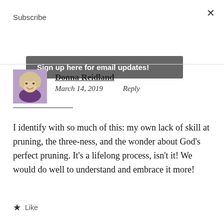Subscribe
Sign up here for email updates!
Donna Reidland
March 14, 2019    Reply
I identify with so much of this: my own lack of skill at pruning, the three-ness, and the wonder about God's perfect pruning. It's a lifelong process, isn't it! We would do well to understand and embrace it more!
★ Like